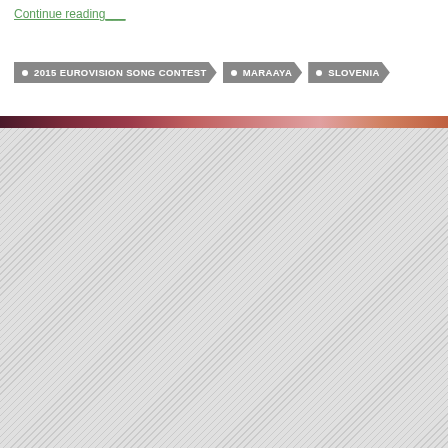Continue reading
• 2015 EUROVISION SONG CONTEST • MARAAYA • SLOVENIA
[Figure (photo): Top strip showing a partially visible stage or performance photo with warm reddish-purple tones, followed by a large hatched/placeholder area below]